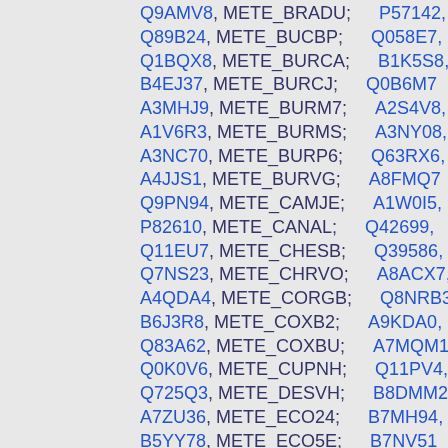Q9AMV8, METE_BRADU; P57142,
Q89B24, METE_BUCBP; Q058E7,
Q1BQX8, METE_BURCA; B1K5S8,
B4EJ37, METE_BURCJ; Q0B6M7
A3MHJ9, METE_BURM7; A2S4V8,
A1V6R3, METE_BURMS; A3NY08,
A3NC70, METE_BURP6; Q63RX6,
A4JJS1, METE_BURVG; A8FMQ7
Q9PN94, METE_CAMJE; A1W0I5,
P82610, METE_CANAL; Q42699,
Q11EU7, METE_CHESB; Q39586,
Q7NS23, METE_CHRVO; A8ACX7,
A4QDA4, METE_CORGB; Q8NRB3
B6J3R8, METE_COXB2; A9KDA0,
Q83A62, METE_COXBU; A7MQM1
Q0K0V6, METE_CUPNH; Q11PV4,
Q725Q3, METE_DESVH; B8DMM2
A7ZU36, METE_ECO24; B7MH94,
B5YY78, METE_ECO5E; B7NV51